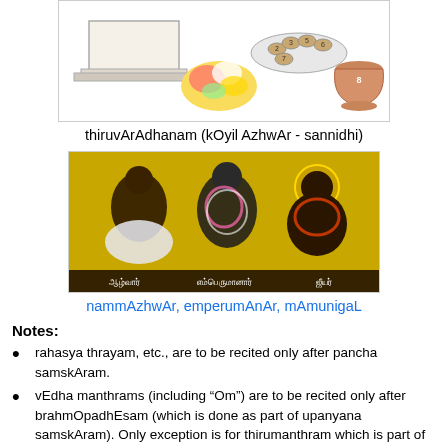[Figure (illustration): Illustration of thiruvArAdhanam items including a white stone/altar, flowers, numbered bowls on a plate, and a clay pot]
thiruvArAdhanam (kOyil AzhwAr - sannidhi)
[Figure (photo): Photo of nammAzhwAr, emperumAnAr, and mAmunigaL deities on a yellow background, with Tamil labels beneath each]
nammAzhwAr, emperumAnAr, mAmunigaL
Notes:
rahasya thrayam, etc., are to be recited only after pancha samskAram.
vEdha manthrams (including “Om”) are to be recited only after brahmOpadhEsam (which is done as part of upanyana samskAram). Only exception is for thirumanthram which is part of manthrOpadhESam in pancha samskAram.